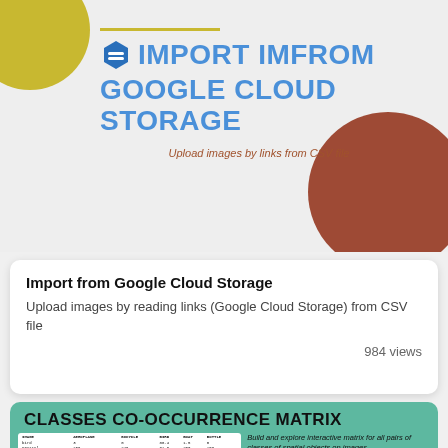[Figure (infographic): Banner card with blue title 'IMPORT IMFROM GOOGLE CLOUD STORAGE', subtitle 'Upload images by links from CSV file', decorative yellow quarter-circle top-left and brown quarter-circle bottom-right, blue hexagon icon]
Import from Google Cloud Storage
Upload images by reading links (Google Cloud Storage) from CSV file
984 views
[Figure (screenshot): Green banner showing 'CLASSES CO-OCCURRENCE MATRIX' with a small table on the left and a screenshot of a UI with a bird image on the right, subtitle 'Build and explore interactive matrix for all pairs of classes of spatial objects on images.']